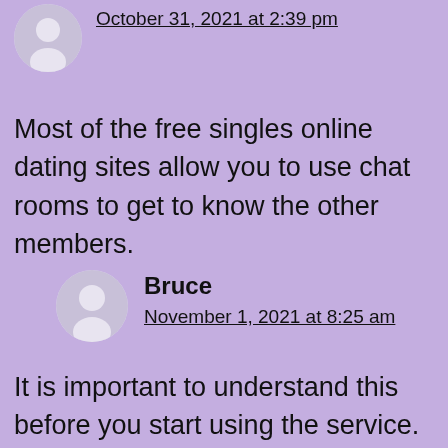October 31, 2021 at 2:39 pm
Most of the free singles online dating sites allow you to use chat rooms to get to know the other members.
Bruce
November 1, 2021 at 8:25 am
It is important to understand this before you start using the service.